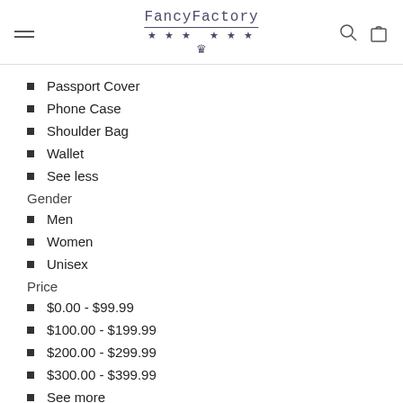FancyFactory
Passport Cover
Phone Case
Shoulder Bag
Wallet
See less
Gender
Men
Women
Unisex
Price
$0.00 - $99.99
$100.00 - $199.99
$200.00 - $299.99
$300.00 - $399.99
See more
$400.00 - $499.99